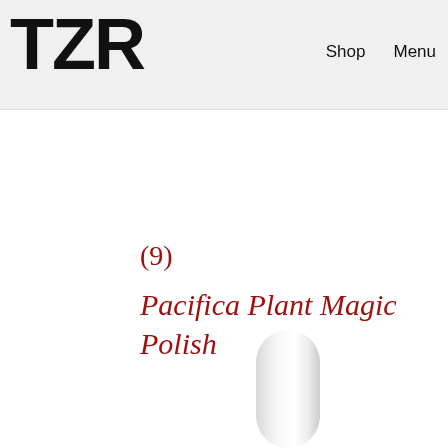TZR  Shop  Menu
(9)
Pacifica Plant Magic Polish
[Figure (photo): White cylindrical product bottle partially visible at bottom center of page]